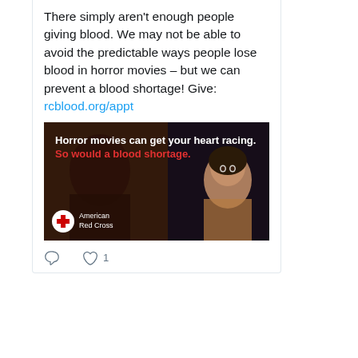There simply aren't enough people giving blood. We may not be able to avoid the predictable ways people lose blood in horror movies – but we can prevent a blood shortage! Give: rcblood.org/appt
[Figure (screenshot): American Red Cross ad image: 'Horror movies can get your heart racing. So would a blood shortage.' with a scared woman in dark setting and Red Cross logo.]
Red Cr... @Re... · 16h
It's World Humanitarian Day. Read about 5 ways